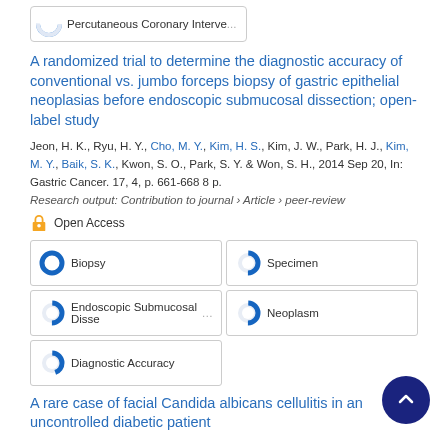[Figure (other): Partial donut chart icon with 'Percutaneous Coronary Interve...' pill badge at top of page]
A randomized trial to determine the diagnostic accuracy of conventional vs. jumbo forceps biopsy of gastric epithelial neoplasias before endoscopic submucosal dissection; open-label study
Jeon, H. K., Ryu, H. Y., Cho, M. Y., Kim, H. S., Kim, J. W., Park, H. J., Kim, M. Y., Baik, S. K., Kwon, S. O., Park, S. Y. & Won, S. H., 2014 Sep 20, In: Gastric Cancer. 17, 4, p. 661-668 8 p.
Research output: Contribution to journal › Article › peer-review
Open Access
Biopsy
Specimen
Endoscopic Submucosal Dissection
Neoplasm
Diagnostic Accuracy
A rare case of facial Candida albicans cellulitis in an uncontrolled diabetic patient